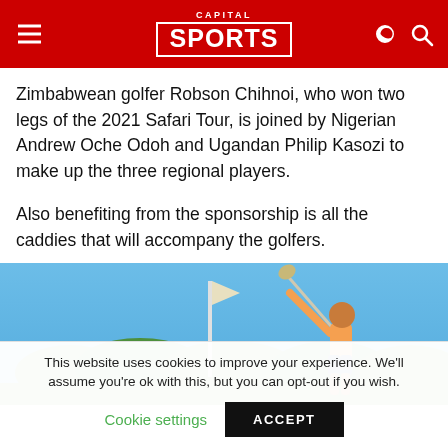CAPITAL SPORTS
Zimbabwean golfer Robson Chihnoi, who won two legs of the 2021 Safari Tour, is joined by Nigerian Andrew Oche Odoh and Ugandan Philip Kasozi to make up the three regional players.
Also benefiting from the sponsorship is all the caddies that will accompany the golfers.
[Figure (photo): A golfer swinging a club against a blue sky with trees in the background]
This website uses cookies to improve your experience. We'll assume you're ok with this, but you can opt-out if you wish.